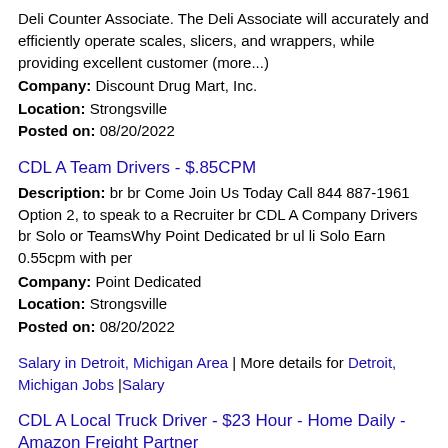Deli Counter Associate. The Deli Associate will accurately and efficiently operate scales, slicers, and wrappers, while providing excellent customer (more...)
Company: Discount Drug Mart, Inc.
Location: Strongsville
Posted on: 08/20/2022
CDL A Team Drivers - $.85CPM
Description: br br Come Join Us Today Call 844 887-1961 Option 2, to speak to a Recruiter br CDL A Company Drivers br Solo or TeamsWhy Point Dedicated br ul li Solo Earn 0.55cpm with per
Company: Point Dedicated
Location: Strongsville
Posted on: 08/20/2022
Salary in Detroit, Michigan Area | More details for Detroit, Michigan Jobs |Salary
CDL A Local Truck Driver - $23 Hour - Home Daily - Amazon Freight Partner
Description: CDL A Local Truck Driver - Amazon Freight Partner Pony Xpress Delivery is the premier delivery service provider, partnering with some of the most respected e-commerce and logistics organizations. We provide (more...)